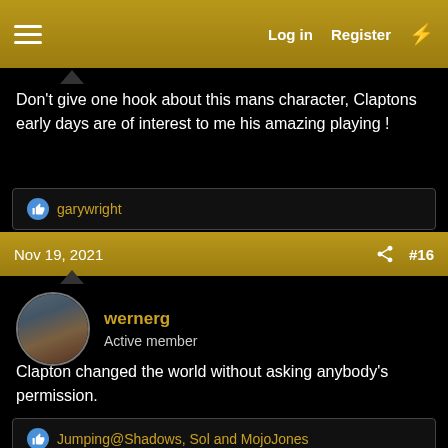Log in  Register
Don't give one hook about this mans character, Claptons early days are of interest to me his amazing playing !
garywright
Nov 19, 2021  #16
wernerg
Active member
Clapton changed the world without asking anybody's permission.

Now, the world changed around him, without asking his permission...
Jumping@Shadows, Sol and MojoJones